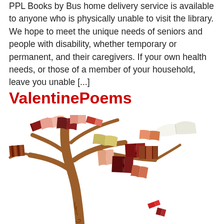PPL Books by Bus home delivery service is available to anyone who is physically unable to visit the library. We hope to meet the unique needs of seniors and people with disability, whether temporary or permanent, and their caregivers.  If your own health needs, or those of a member of your household, leave you unable [...]
ValentinePoems
[Figure (illustration): Illustration of a bare brown tree with colorful open books hanging from its branches and flying away, representing a book tree or library theme.]